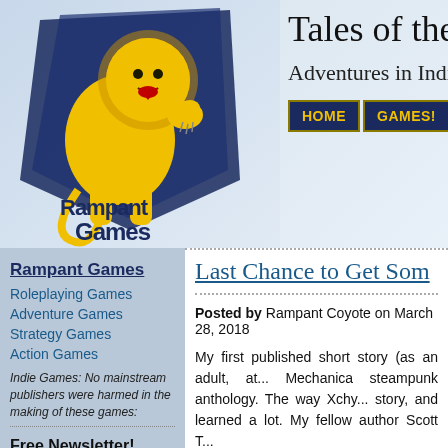[Figure (logo): Rampant Games logo with yellow lion on blue shield and 'Rampant Games' text]
Tales of the Ra...
Adventures in Indie Ga...
HOME | GAMES! | JAY'S T...
Rampant Games
Roleplaying Games
Adventure Games
Strategy Games
Action Games
Indie Games: No mainstream publishers were harmed in the making of these games:
Free Newsletter!
Enter your email address bel
Last Chance to Get Som...
Posted by Rampant Coyote on March 28, 2018
My first published short story (as an adult, at... Mechanica steampunk anthology. The way Xchy... story, and learned a lot. My fellow author Scott T...
Filed Under: Books, Short Fiction - Comments: